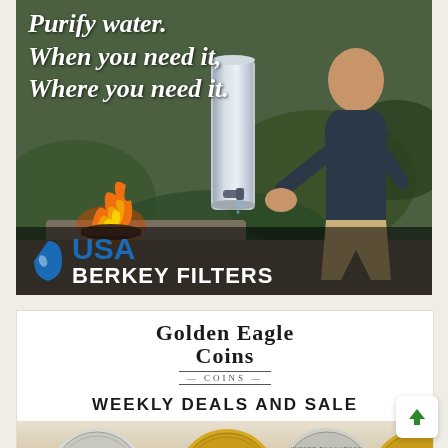[Figure (photo): Advertisement for USA Berkey Filters showing a man using a Berkey water filter outdoors with fire in background. White italic serif text reads 'Purify water. When you need it, Where you need it.' Logo shows blue water drop icon with 'USA' in blue and 'BERKEY FILTERS' in white on dark background.]
[Figure (photo): Advertisement for Golden Eagle Coins showing logo text 'GOLDEN EAGLE COINS' with 'WEEKLY DEALS AND SALE' text and multiple gold and silver coins at the bottom.]